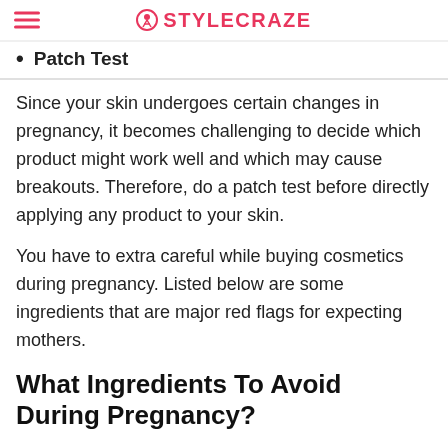STYLECRAZE
Patch Test
Since your skin undergoes certain changes in pregnancy, it becomes challenging to decide which product might work well and which may cause breakouts. Therefore, do a patch test before directly applying any product to your skin.
You have to extra careful while buying cosmetics during pregnancy. Listed below are some ingredients that are major red flags for expecting mothers.
What Ingredients To Avoid During Pregnancy?